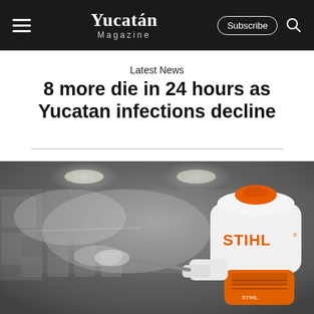Yucatán Magazine | Subscribe | (search)
Latest News
8 more die in 24 hours as Yucatan infections decline
[Figure (photo): A person wearing white gloves operates a STIHL backpack mist blower/fogger inside what appears to be a bus or transit vehicle, spraying disinfectant mist through the interior. Rows of empty seats are visible in the misty background with overhead lighting.]